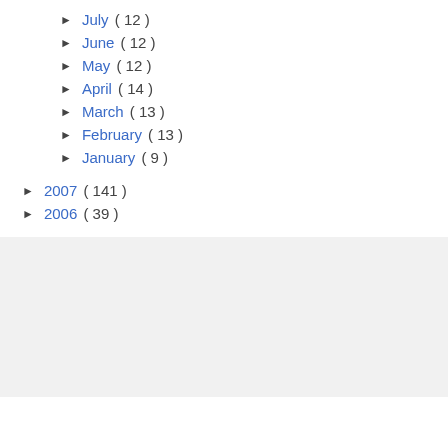► July ( 12 )
► June ( 12 )
► May ( 12 )
► April ( 14 )
► March ( 13 )
► February ( 13 )
► January ( 9 )
► 2007 ( 141 )
► 2006 ( 39 )